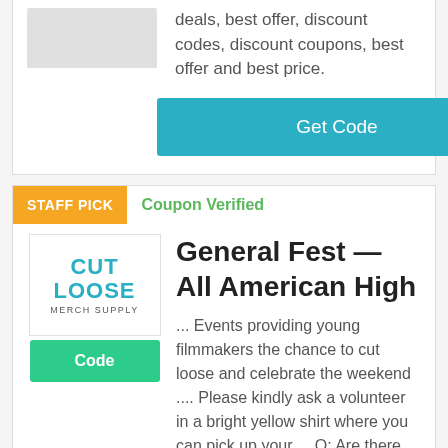deals, best offer, discount codes, discount coupons, best offer and best price.
Get Code
STAFF PICK
Coupon Verified
[Figure (logo): Cut Loose Merch Supply logo]
Code
General Fest — All American High
... Events providing young filmmakers the chance to cut loose and celebrate the weekend .... Please kindly ask a volunteer in a bright yellow shirt where you can pick up your ... Q: Are there any coupon codes or discounts available for